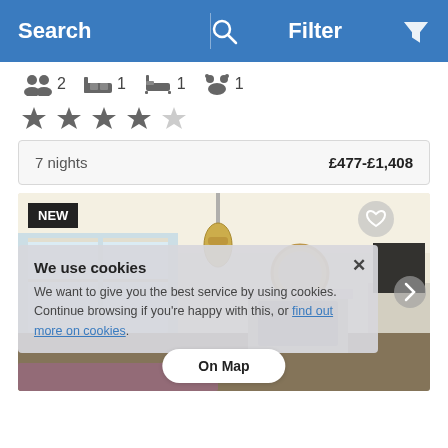Search | Filter
2  1  1  1
★★★★☆
7 nights  £477-£1,408
[Figure (photo): Interior photo of a living room with cream walls, pendant light, mirror above fireplace, TV on sideboard, windows. NEW badge top-left. Heart icon top-right. Cookie consent overlay with close X button and 'On Map' button.]